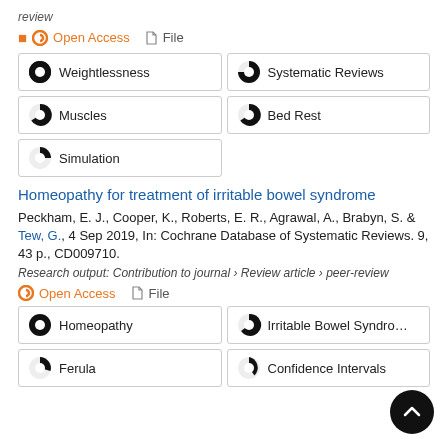review
Open Access  File
Weightlessness | Systematic Reviews | Muscles | Bed Rest | Simulation
Homeopathy for treatment of irritable bowel syndrome
Peckham, E. J., Cooper, K., Roberts, E. R., Agrawal, A., Brabyn, S. & Tew, G., 4 Sep 2019, In: Cochrane Database of Systematic Reviews. 9, 43 p., CD009710.
Research output: Contribution to journal › Review article › peer-review
Open Access  File
Homeopathy | Irritable Bowel Syndrome | Ferula | Confidence Intervals